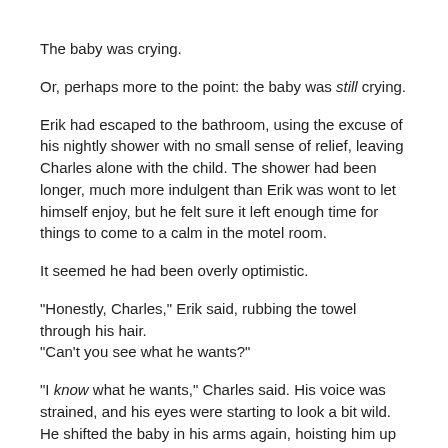The baby was crying.
Or, perhaps more to the point: the baby was still crying.
Erik had escaped to the bathroom, using the excuse of his nightly shower with no small sense of relief, leaving Charles alone with the child. The shower had been longer, much more indulgent than Erik was wont to let himself enjoy, but he felt sure it left enough time for things to come to a calm in the motel room.
It seemed he had been overly optimistic.
"Honestly, Charles," Erik said, rubbing the towel through his hair. "Can't you see what he wants?"
"I know what he wants," Charles said. His voice was strained, and his eyes were starting to look a bit wild. He shifted the baby in his arms again, hoisting him up against his chest. The baby had his fingers curled around Charles's cardigan, though the rest of his body seemed to be pulling away from Charles as much as he could as he continued to scream. "He's tired, he wants to sleep but he won't let himself. He doesn't know us, he doesn't know this place, it's overwhelming for